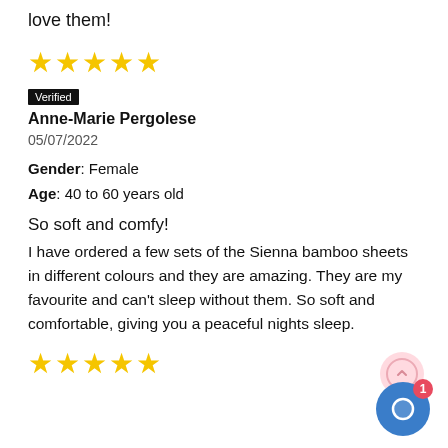love them!
[Figure (other): 5 gold stars rating]
Verified
Anne-Marie Pergolese
05/07/2022
Gender: Female
Age: 40 to 60 years old
So soft and comfy!
I have ordered a few sets of the Sienna bamboo sheets in different colours and they are amazing. They are my favourite and can't sleep without them. So soft and comfortable, giving you a peaceful nights sleep.
[Figure (other): 5 gold stars rating]
[Figure (other): Chat widget with notification badge showing 1 message, blue circle with pink arrow circle overlay]